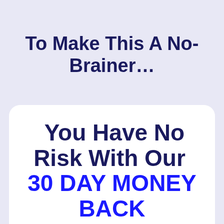To Make This A No-Brainer...
You Have No Risk With Our 30 DAY MONEY BACK